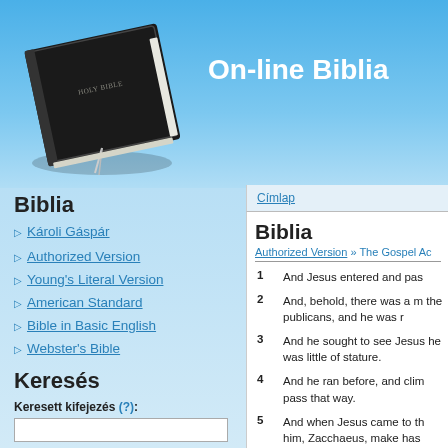[Figure (illustration): Black Holy Bible book cover with a ribbon bookmark, shown at an angle against a blue gradient background]
On-line Biblia
Címlap
Biblia
Károli Gáspár
Authorized Version
Young's Literal Version
American Standard
Bible in Basic English
Webster's Bible
Keresés
Keresett kifejezés (?):
Biblia
Authorized Version » The Gospel Ac
1	And Jesus entered and pas
2	And, behold, there was a m the publicans, and he was r
3	And he sought to see Jesus he was little of stature.
4	And he ran before, and clim pass that way.
5	And when Jesus came to th him, Zacchaeus, make has house.